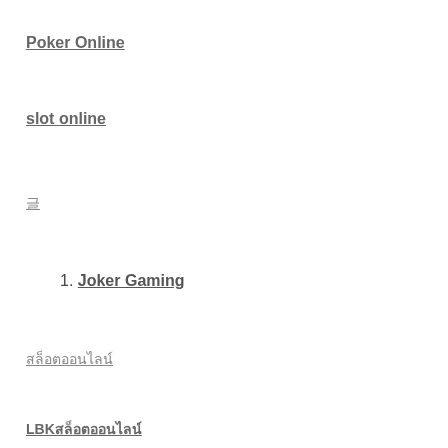Poker Online
slot online
글
1. Joker Gaming
สล็อตออนไลน์
LBKสล็อตออนไลน์